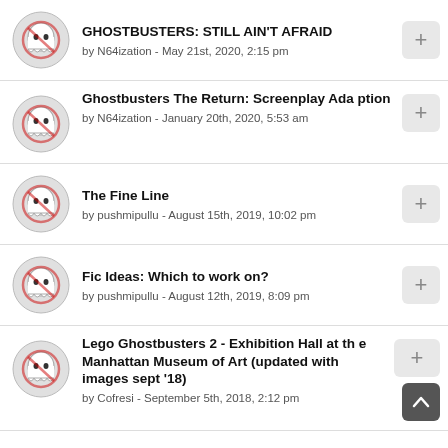GHOSTBUSTERS: STILL AIN'T AFRAID by N64ization - May 21st, 2020, 2:15 pm
Ghostbusters The Return: Screenplay Adaption by N64ization - January 20th, 2020, 5:53 am
The Fine Line by pushmipullu - August 15th, 2019, 10:02 pm
Fic Ideas: Which to work on? by pushmipullu - August 12th, 2019, 8:09 pm
Lego Ghostbusters 2 - Exhibition Hall at the Manhattan Museum of Art (updated with images sept '18) by Cofresi - September 5th, 2018, 2:12 pm